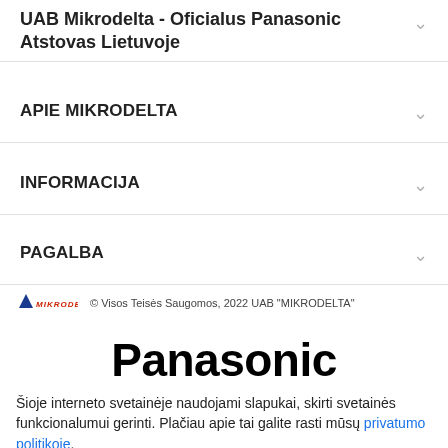UAB Mikrodelta - Oficialus Panasonic Atstovas Lietuvoje
APIE MIKRODELTA
INFORMACIJA
PAGALBA
[Figure (logo): Mikrodelta logo with triangle icon and red italic text]
© Visos Teisės Saugomos, 2022 UAB "MIKRODELTA"
[Figure (logo): Panasonic logo in large bold black text]
Šioje interneto svetainėje naudojami slapukai, skirti svetainės funkcionalumui gerinti. Plačiau apie tai galite rasti mūsų privatumo politikoje.